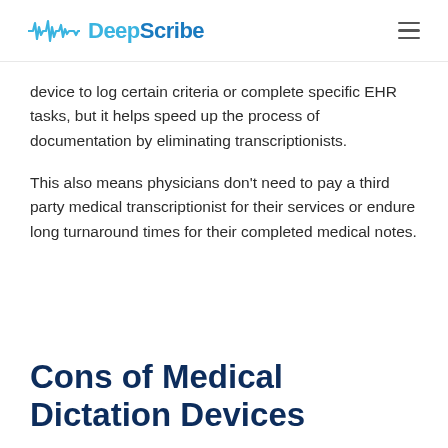DeepScribe
device to log certain criteria or complete specific EHR tasks, but it helps speed up the process of documentation by eliminating transcriptionists.
This also means physicians don't need to pay a third party medical transcriptionist for their services or endure long turnaround times for their completed medical notes.
Cons of Medical Dictation Devices